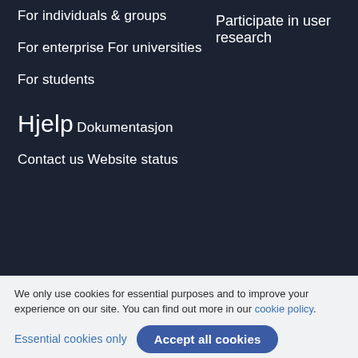For individuals & groups
For enterprise
For universities
For students
Participate in user research
Hjelp
Dokumentasjon
Contact us
Website status
We only use cookies for essential purposes and to improve your experience on our site. You can find out more in our cookie policy.
Essential cookies only
Accept all cookies